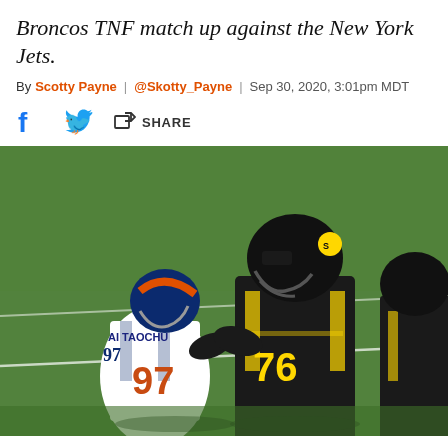Broncos TNF match up against the New York Jets.
By Scotty Payne | @Skotty_Payne | Sep 30, 2020, 3:01pm MDT
[Figure (photo): Football players in action: Denver Broncos player #97 AI TAOCHU in white uniform with orange numbers facing off against Pittsburgh Steelers player #76 in black and yellow uniform on a grass field.]